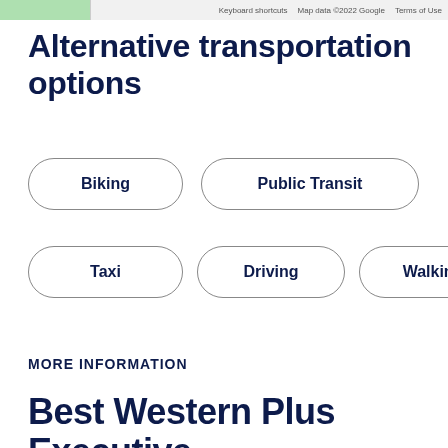Keyboard shortcuts   Map data ©2022 Google   Terms of Use
Alternative transportation options
Biking
Public Transit
Taxi
Driving
Walking
MORE INFORMATION
Best Western Plus Executive